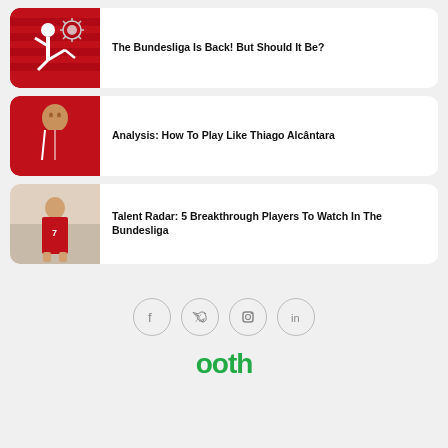[Figure (illustration): Red thumbnail with Bundesliga kicker logo silhouette and coronavirus icon overlay]
The Bundesliga Is Back! But Should It Be?
[Figure (photo): Thiago Alcântara in red Bayern Munich jersey]
Analysis: How To Play Like Thiago Alcântara
[Figure (photo): Young Bundesliga player in red Bayern Munich kit standing on pitch]
Talent Radar: 5 Breakthrough Players To Watch In The Bundesliga
[Figure (infographic): Social media icons: Facebook, Twitter, Instagram, LinkedIn]
ooth